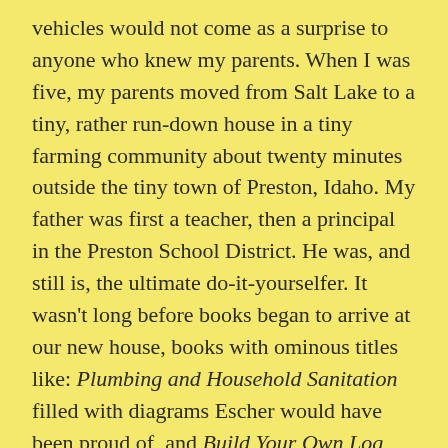vehicles would not come as a surprise to anyone who knew my parents. When I was five, my parents moved from Salt Lake to a tiny, rather run-down house in a tiny farming community about twenty minutes outside the tiny town of Preston, Idaho. My father was first a teacher, then a principal in the Preston School District. He was, and still is, the ultimate do-it-yourselfer. It wasn't long before books began to arrive at our new house, books with ominous titles like: Plumbing and Household Sanitation filled with diagrams Escher would have been proud of, and Build Your Own Log Home – It's Easy! published by Pants on Fire, LLC. And build it, we did!
My mother had been...